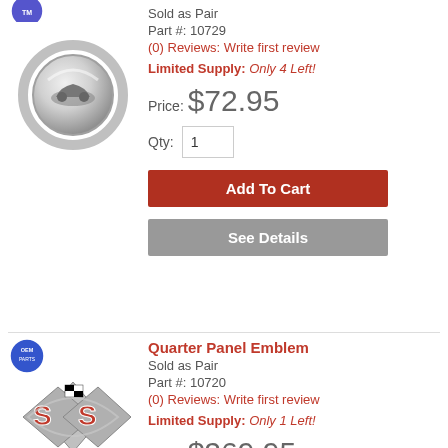Sold as Pair
Part #: 10729
(0) Reviews: Write first review
Limited Supply: Only 4 Left!
Price: $72.95
[Figure (illustration): Chrome circular emblem/key ring with car silhouette]
Qty: 1
Add To Cart
See Details
Quarter Panel Emblem
Sold as Pair
Part #: 10720
(0) Reviews: Write first review
Limited Supply: Only 1 Left!
[Figure (illustration): SS chrome car emblem with checkered flags]
Price: $269.95